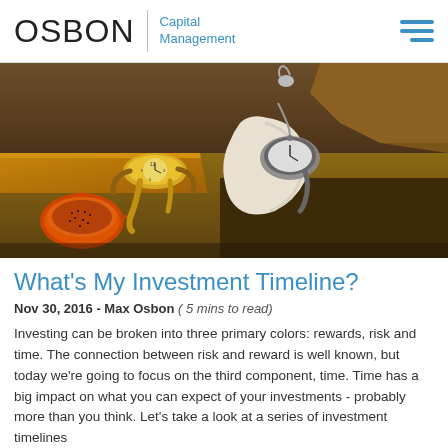OSBON Capital Management
[Figure (photo): Salvador Dalí's 'The Persistence of Memory' painting showing melting clocks on a surreal landscape, used as hero image for an article about investment timelines.]
What's My Investment Timeline?
Nov 30, 2016 - Max Osbon ( 5 mins to read)
Investing can be broken into three primary colors: rewards, risk and time. The connection between risk and reward is well known, but today we're going to focus on the third component, time. Time has a big impact on what you can expect of your investments - probably more than you think. Let's take a look at a series of investment timelines